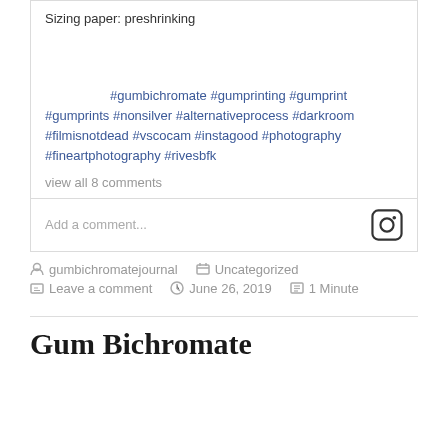Sizing paper: preshrinking
#gumbichromate #gumprinting #gumprint #gumprints #nonsilver #alternativeprocess #darkroom #filmisnotdead #vscocam #instagood #photography #fineartphotography #rivesbfk
view all 8 comments
Add a comment...
gumbichromatejournal
Uncategorized
Leave a comment
June 26, 2019
1 Minute
Gum Bichromate